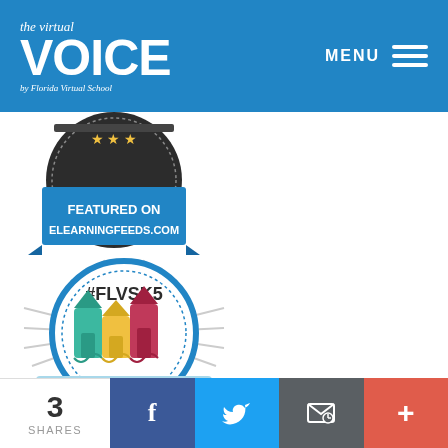[Figure (logo): The Virtual VOICE by Florida Virtual School logo on blue header background with MENU hamburger icon]
[Figure (illustration): Featured on eLearningFeeds.com badge - dark circular badge with stars and blue ribbon banner]
[Figure (illustration): #FLVSK5 Elementary Excellence badge - circular badge with radiating lines, crayon buildings illustration, and light blue ribbon]
Teach100
3 SHARES